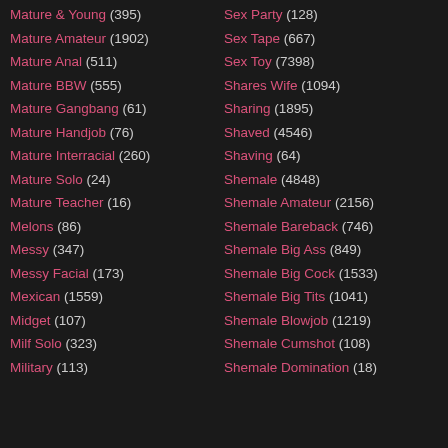Mature & Young (395)
Mature Amateur (1902)
Mature Anal (511)
Mature BBW (555)
Mature Gangbang (61)
Mature Handjob (76)
Mature Interracial (260)
Mature Solo (24)
Mature Teacher (16)
Melons (86)
Messy (347)
Messy Facial (173)
Mexican (1559)
Midget (107)
Milf Solo (323)
Military (113)
Sex Party (128)
Sex Tape (667)
Sex Toy (7398)
Shares Wife (1094)
Sharing (1895)
Shaved (4546)
Shaving (64)
Shemale (4848)
Shemale Amateur (2156)
Shemale Bareback (746)
Shemale Big Ass (849)
Shemale Big Cock (1533)
Shemale Big Tits (1041)
Shemale Blowjob (1219)
Shemale Cumshot (108)
Shemale Domination (18)